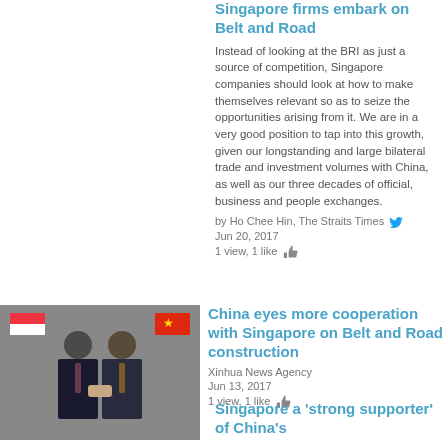Singapore firms embark on Belt and Road
Instead of looking at the BRI as just a source of competition, Singapore companies should look at how to make themselves relevant so as to seize the opportunities arising from it. We are in a very good position to tap into this growth, given our longstanding and large bilateral trade and investment volumes with China, as well as our three decades of official, business and people exchanges.
by Ho Chee Hin, The Straits Times
Jun 20, 2017
1 view, 1 like
[Figure (photo): Two men in suits shaking hands in front of Singapore and Chinese flags]
China eyes more cooperation with Singapore on Belt and Road construction
Xinhua News Agency
Jun 13, 2017
1 view, 1 like
Singapore a 'strong supporter' of China's